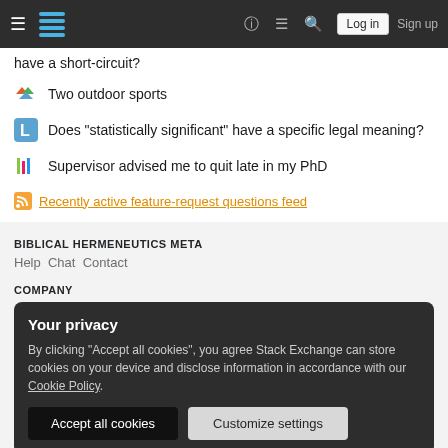Stack Exchange navigation bar with hamburger menu, logo, help, chat, search icons, Log in, Sign up
have a short-circuit?
Two outdoor sports
Does "statistically significant" have a specific legal meaning?
Supervisor advised me to quit late in my PhD
Recently active feature-request questions feed
BIBLICAL HERMENEUTICS META
Help  Chat  Contact
COMPANY
Your privacy
By clicking "Accept all cookies", you agree Stack Exchange can store cookies on your device and disclose information in accordance with our Cookie Policy.
Accept all cookies    Customize settings